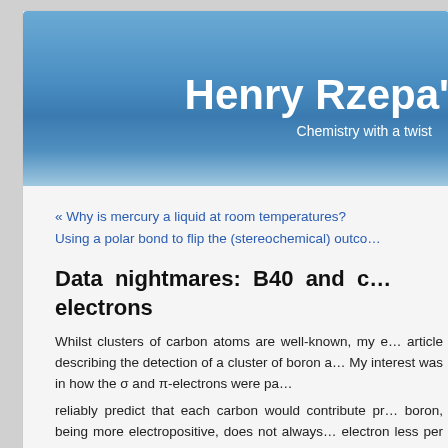Henry Rzepa's Chemistry with a twist
« Why is mercury a liquid at room temperatures?
Using a polar bond to flip the (stereochemical) outco…
Data nightmares: B40 and c… electrons
Whilst clusters of carbon atoms are well-known, my e… article describing the detection of a cluster of boron a… My interest was in how the σ and π-electrons were pa… reliably predict that each carbon would contribute pr… boron, being more electropositive, does not always… electron less per atom, one might imagine that a…